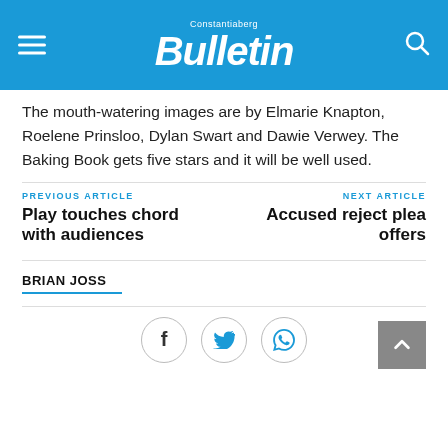Constantiaberg Bulletin
The mouth-watering images are by Elmarie Knapton, Roelene Prinsloo, Dylan Swart and Dawie Verwey. The Baking Book gets five stars and it will be well used.
PREVIOUS ARTICLE
Play touches chord with audiences
NEXT ARTICLE
Accused reject plea offers
BRIAN JOSS